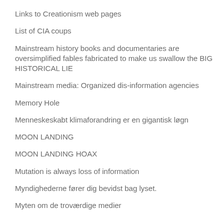Links to Creationism web pages
List of CIA coups
Mainstream history books and documentaries are oversimplified fables fabricated to make us swallow the BIG HISTORICAL LIE
Mainstream media: Organized dis-information agencies
Memory Hole
Menneskeskabt klimaforandring er en gigantisk løgn
MOON LANDING
MOON LANDING HOAX
Mutation is always loss of information
Myndighederne fører dig bevidst bag lyset.
Myten om de troværdige medier